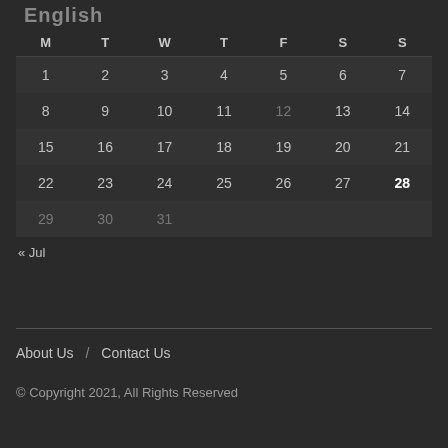| M | T | W | T | F | S | S |
| --- | --- | --- | --- | --- | --- | --- |
| 1 | 2 | 3 | 4 | 5 | 6 | 7 |
| 8 | 9 | 10 | 11 | 12 | 13 | 14 |
| 15 | 16 | 17 | 18 | 19 | 20 | 21 |
| 22 | 23 | 24 | 25 | 26 | 27 | 28 |
| 29 | 30 | 31 |  |  |  |  |
« Jul
About Us  /  Contact Us
© Copyright 2021, All Rights Reserved